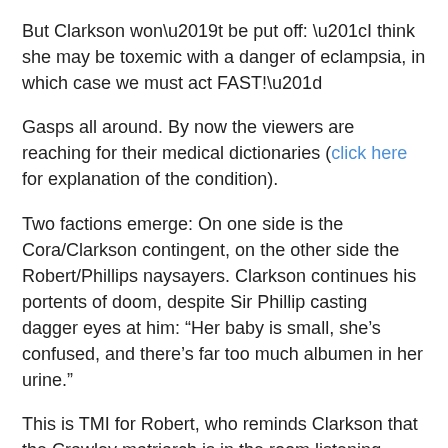But Clarkson won't be put off: “I think she may be toxemic with a danger of eclampsia, in which case we must act FAST!”
Gasps all around. By now the viewers are reaching for their medical dictionaries (click here for explanation of the condition).
Two factions emerge: On one side is the Cora/Clarkson contingent, on the other side the Robert/Phillips naysayers. Clarkson continues his portents of doom, despite Sir Phillip casting dagger eyes at him: “Her baby is small, she’s confused, and there’s far too much albumen in her urine.”
This is TMI for Robert, who reminds Clarkson that the Crawley matriarch is in the room listening.